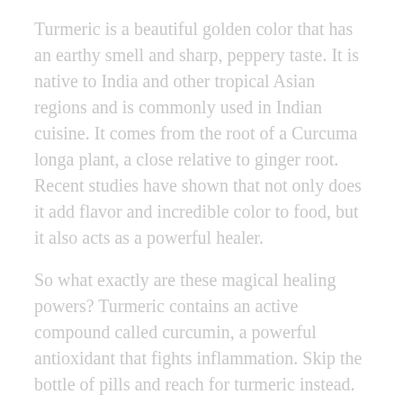Turmeric is a beautiful golden color that has an earthy smell and sharp, peppery taste. It is native to India and other tropical Asian regions and is commonly used in Indian cuisine. It comes from the root of a Curcuma longa plant, a close relative to ginger root. Recent studies have shown that not only does it add flavor and incredible color to food, but it also acts as a powerful healer.
So what exactly are these magical healing powers? Turmeric contains an active compound called curcumin, a powerful antioxidant that fights inflammation. Skip the bottle of pills and reach for turmeric instead. There are numerous benefits to turmeric, including the following:
Anti-inflammatory: brings relief to people